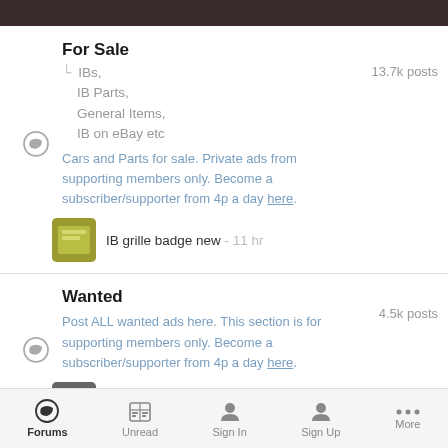For Sale
IBs, IB Parts, General Items, IB on eBay etc
Cars and Parts for sale. Private ads from supporting members only. Become a subscriber/supporter from 4p a day here.
13.7k posts
IB grille badge new - 11 hr
Wanted
Post ALL wanted ads here. This section is for supporting members only. Become a subscriber/supporter from 4p a day here.
4.5k posts
7J & 9J Wheels - 4 dy
Forums   Unread   Sign In   Sign Up   More